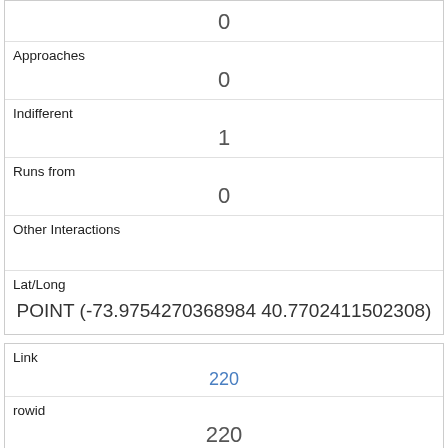|  | 0 |
| Approaches | 0 |
| Indifferent | 1 |
| Runs from | 0 |
| Other Interactions |  |
| Lat/Long | POINT (-73.9754270368984 40.7702411502308) |
| Link | 220 |
| rowid | 220 |
| longitude | -73.96718161220299 |
| latitude | 40.77877752287055 |
| Unique Squirrel ID |  |